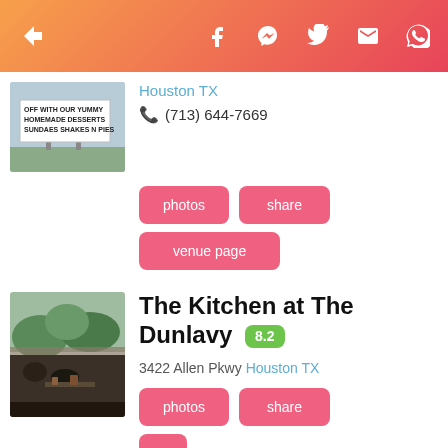Social share navigation bar with icons: back, Facebook, Messenger, Twitter, Mail, WhatsApp
Houston TX
(713) 644-7669
photos
share
venue page
The Kitchen at The Dunlavy 8.2
3422 Allen Pkwy Houston TX
photos
share